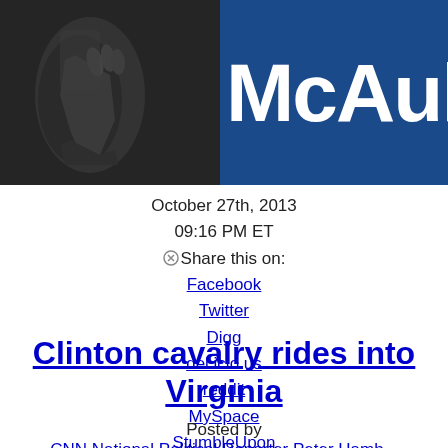[Figure (photo): News article header photo: left side shows a dark background with a hand gesture, right side shows a blue campaign sign with 'McAul' visible (McAuliffe campaign sign)]
October 27th, 2013
09:16 PM ET
⊗Share this on:
Facebook
Twitter
Digg
del.icio.us
reddit
MySpace
StumbleUpon
9 years ago
Clinton cavalry rides into Virginia
Posted by
CNN National Political Reporter Peter Hamb...